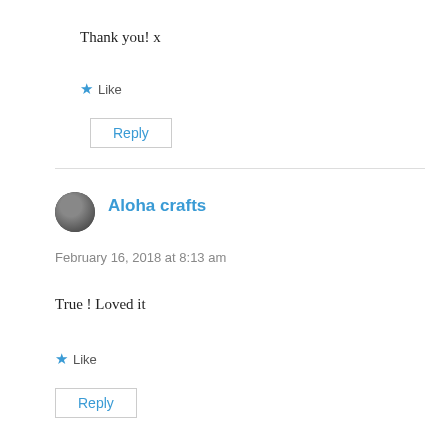Thank you! x
★ Like
Reply
Aloha crafts
February 16, 2018 at 8:13 am
True ! Loved it
★ Like
Reply